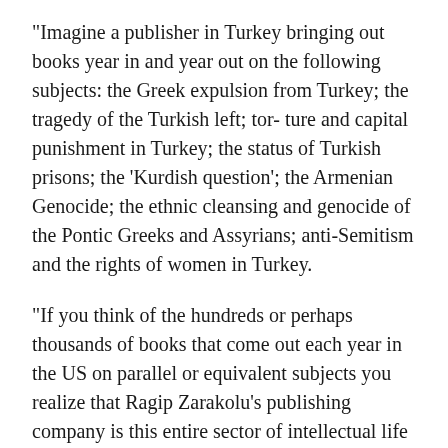“Imagine a publisher in Turkey bringing out books year in and year out on the following subjects: the Greek expulsion from Turkey; the tragedy of the Turkish left; tor- ture and capital punishment in Turkey; the status of Turkish prisons; the ‘Kurdish question’; the Armenian Genocide; the ethnic cleansing and genocide of the Pontic Greeks and Assyrians; anti-Semitism and the rights of women in Turkey.
“If you think of the hundreds or perhaps thousands of books that come out each year in the US on parallel or equivalent subjects you realize that Ragip Zarakolu’s publishing company is this entire sector of intellectual life for Turkey, and you